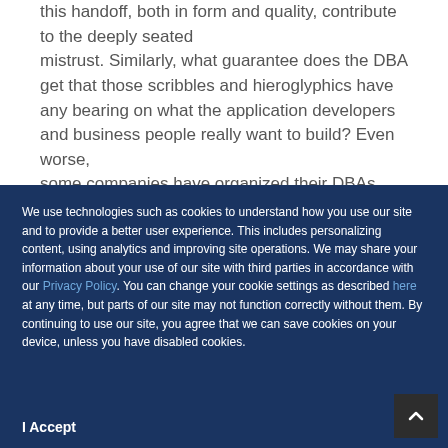this handoff, both in form and quality, contribute to the deeply seated mistrust. Similarly, what guarantee does the DBA get that those scribbles and hieroglyphics have any bearing on what the application developers and business people really want to build? Even worse, some companies have organized their DBAs and data
We use technologies such as cookies to understand how you use our site and to provide a better user experience. This includes personalizing content, using analytics and improving site operations. We may share your information about your use of our site with third parties in accordance with our Privacy Policy. You can change your cookie settings as described here at any time, but parts of our site may not function correctly without them. By continuing to use our site, you agree that we can save cookies on your device, unless you have disabled cookies.
I Accept